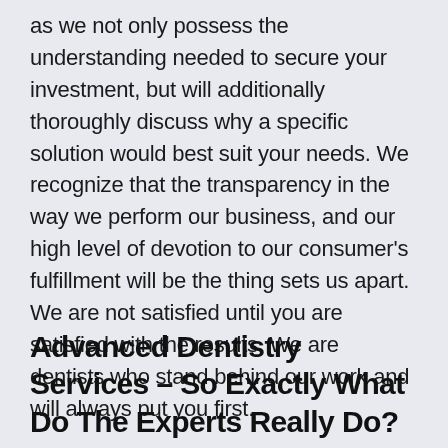as we not only possess the understanding needed to secure your investment, but will additionally thoroughly discuss why a specific solution would best suit your needs. We recognize that the transparency in the way we perform our business, and our high level of devotion to our consumer's fulfillment will be the thing sets us apart. We are not satisfied until you are satisfied with the results. We are dentists who stand behind our work and will always put you first.
Advanced Dentistry Services – So Exactly What Do The Experts Really Do?